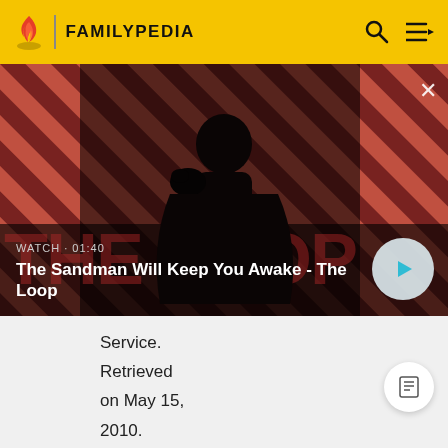FAMILYPEDIA
[Figure (screenshot): Video thumbnail showing a dark figure with a raven on shoulder against a red and black striped background. Shows 'WATCH · 01:40' and title 'The Sandman Will Keep You Awake - The Loop' with a play button.]
Service. Retrieved on May 15, 2010.
30. ^ Post Office